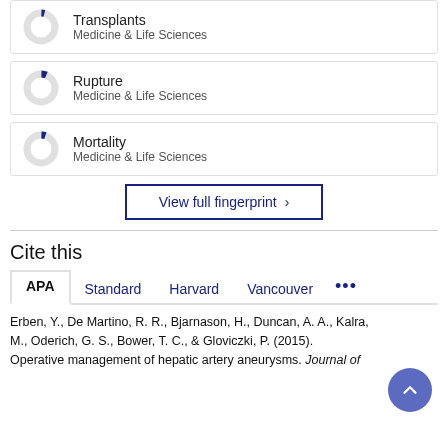[Figure (donut-chart): Small donut chart with a small blue slice, labeled Transplants / Medicine & Life Sciences]
[Figure (donut-chart): Small donut chart with a small blue slice, labeled Rupture / Medicine & Life Sciences]
[Figure (donut-chart): Small donut chart with a small blue slice, labeled Mortality / Medicine & Life Sciences]
View full fingerprint >
Cite this
APA  Standard  Harvard  Vancouver  ...
Erben, Y., De Martino, R. R., Bjarnason, H., Duncan, A. A., Kalra, M., Oderich, G. S., Bower, T. C., & Gloviczki, P. (2015). Operative management of hepatic artery aneurysms. Journal of